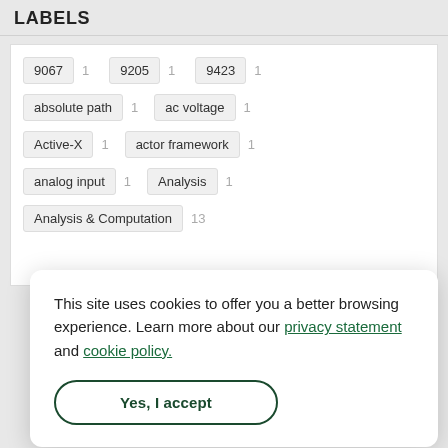LABELS
9067  1    9205  1    9423  1
absolute path  1    ac voltage  1
Active-X  1    actor framework  1
analog input  1    Analysis  1
Analysis & Computation  13
This site uses cookies to offer you a better browsing experience. Learn more about our privacy statement and cookie policy.
Yes, I accept